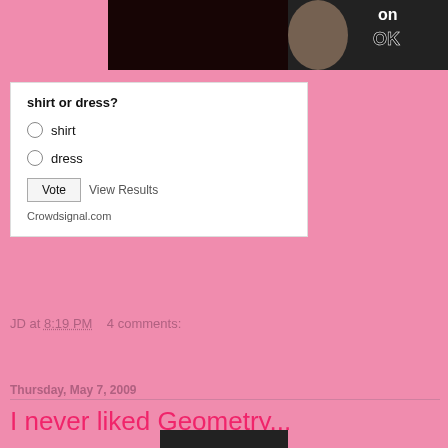[Figure (photo): Partial photo of a person, dark background with text 'OK' visible at top right]
[Figure (other): Poll widget: 'shirt or dress?' with radio options for shirt and dress, a Vote button, View Results link, and Crowdsignal.com attribution]
JD at 8:19 PM    4 comments:
Share
Thursday, May 7, 2009
I never liked Geometry...
[Figure (photo): Partial photo at bottom of page, cut off]